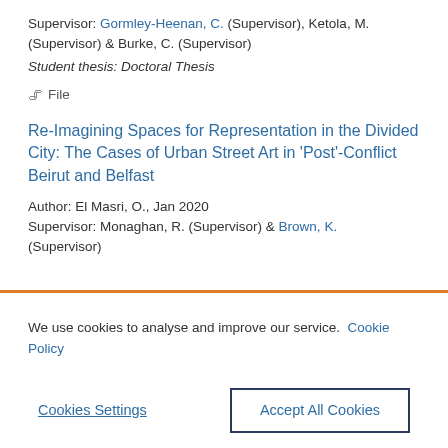Supervisor: Gormley-Heenan, C. (Supervisor), Ketola, M. (Supervisor) & Burke, C. (Supervisor)
Student thesis: Doctoral Thesis
🖇 File
Re-Imagining Spaces for Representation in the Divided City: The Cases of Urban Street Art in 'Post'-Conflict Beirut and Belfast
Author: El Masri, O., Jan 2020
Supervisor: Monaghan, R. (Supervisor) & Brown, K. (Supervisor)
We use cookies to analyse and improve our service. Cookie Policy
Cookies Settings
Accept All Cookies